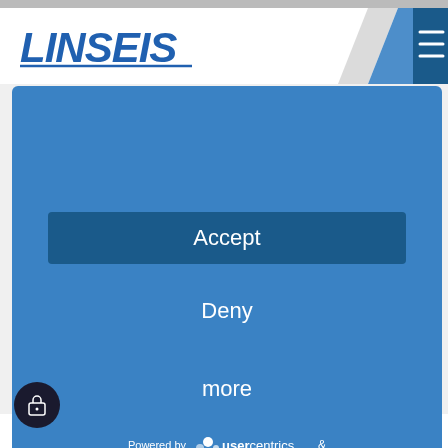[Figure (logo): LINSEIS company logo in blue italic text with underline]
[Figure (screenshot): Cookie consent dialog with Accept, Deny, and more buttons on a blue background, powered by Usercentrics]
operating for days to get a quantum chip from room temperature to its running temperature.
LINSEIS Cryo TMA up to 4...